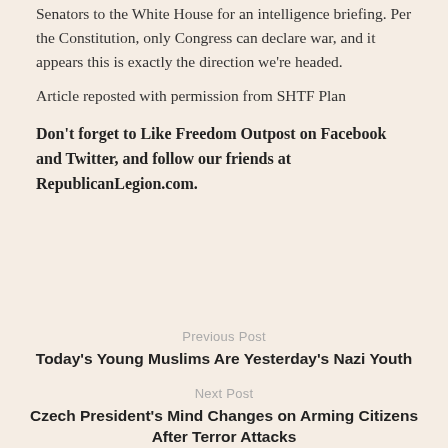Senators to the White House for an intelligence briefing. Per the Constitution, only Congress can declare war, and it appears this is exactly the direction we're headed.
Article reposted with permission from SHTF Plan
Don't forget to Like Freedom Outpost on Facebook and Twitter, and follow our friends at RepublicanLegion.com.
Previous Post
Today's Young Muslims Are Yesterday's Nazi Youth
Next Post
Czech President's Mind Changes on Arming Citizens After Terror Attacks